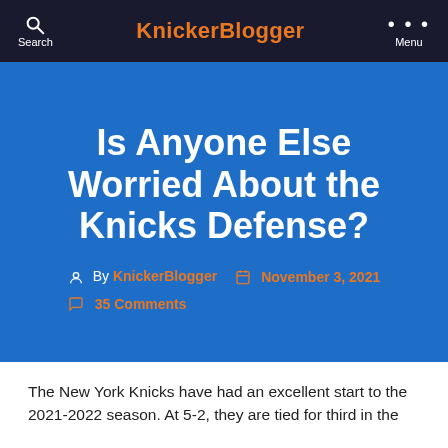KnickerBlogger
Is Anyone Else Worried About the Knicks Defense?
By KnickerBlogger  November 3, 2021  35 Comments
The New York Knicks have had an excellent start to the 2021-2022 season. At 5-2, they are tied for third in the